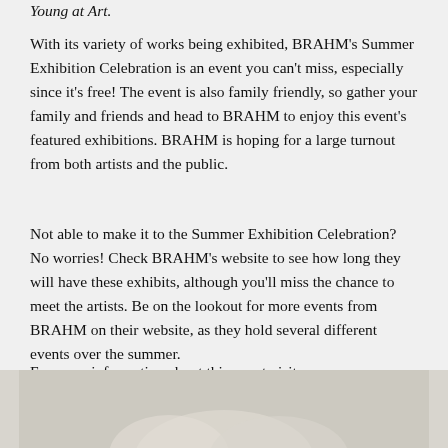Young at Art.
With its variety of works being exhibited, BRAHM's Summer Exhibition Celebration is an event you can't miss, especially since it's free! The event is also family friendly, so gather your family and friends and head to BRAHM to enjoy this event's featured exhibitions. BRAHM is hoping for a large turnout from both artists and the public.
Not able to make it to the Summer Exhibition Celebration? No worries! Check BRAHM's website to see how long they will have these exhibits, although you'll miss the chance to meet the artists. Be on the lookout for more events from BRAHM on their website, as they hold several different events over the summer.
For more information about this event visit blowingrockmuseum.org or call 828-295-9099.
[Figure (photo): Partial image strip at the bottom of the page showing what appears to be a light-colored sculptural or ceramic object against a grey background.]